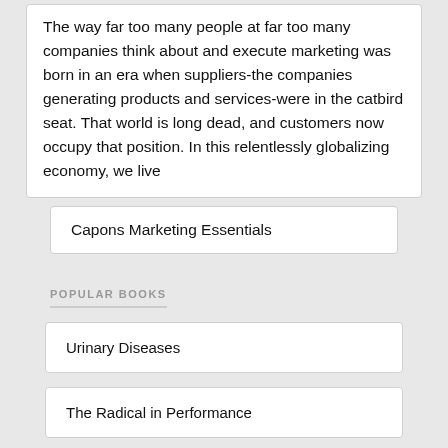The way far too many people at far too many companies think about and execute marketing was born in an era when suppliers-the companies generating products and services-were in the catbird seat. That world is long dead, and customers now occupy that position. In this relentlessly globalizing economy, we live
Capons Marketing Essentials
POPULAR BOOKS
Urinary Diseases
The Radical in Performance